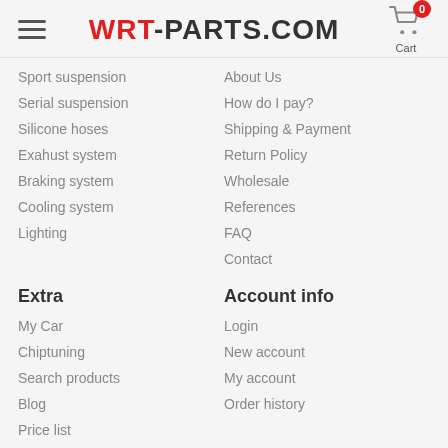WRT-PARTS.COM
Sport suspension
Serial suspension
Silicone hoses
Exahust system
Braking system
Cooling system
Lighting
About Us
How do I pay?
Shipping & Payment
Return Policy
Wholesale
References
FAQ
Contact
Extra
Account info
My Car
Chiptuning
Search products
Blog
Price list
Login
New account
My account
Order history